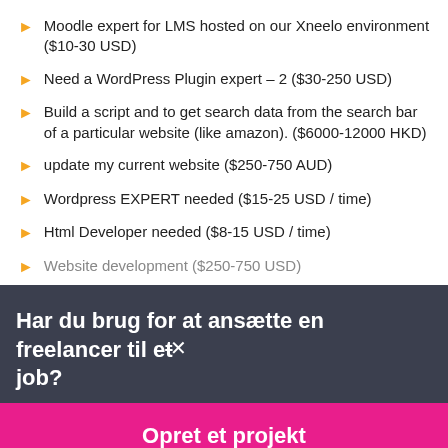Moodle expert for LMS hosted on our Xneelo environment ($10-30 USD)
Need a WordPress Plugin expert – 2 ($30-250 USD)
Build a script and to get search data from the search bar of a particular website (like amazon). ($6000-12000 HKD)
update my current website ($250-750 AUD)
Wordpress EXPERT needed ($15-25 USD / time)
Html Developer needed ($8-15 USD / time)
Website development ($250-750 USD)
Har du brug for at ansætte en freelancer til et job?
Opret et projekt